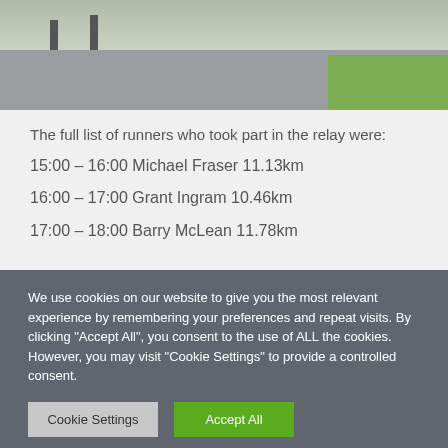[Figure (photo): Partial photo of a runner on a path near a fence with grass visible]
The full list of runners who took part in the relay were:
15:00 – 16:00 Michael Fraser 11.13km
16:00 – 17:00 Grant Ingram 10.46km
17:00 – 18:00 Barry McLean 11.78km
We use cookies on our website to give you the most relevant experience by remembering your preferences and repeat visits. By clicking "Accept All", you consent to the use of ALL the cookies. However, you may visit "Cookie Settings" to provide a controlled consent.